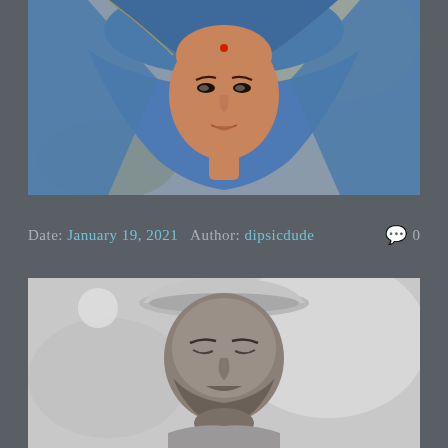[Figure (photo): Portrait of a South Asian woman wearing a blue headscarf/dupatta and a red bindi, looking forward with a slightly open mouth, outdoor blurred background]
Date: January 19, 2021   Author: dipsicdude   0
[Figure (photo): Black and white close-up portrait of a bearded man wearing a bucket hat, eyes downcast, outdoor blurred background]